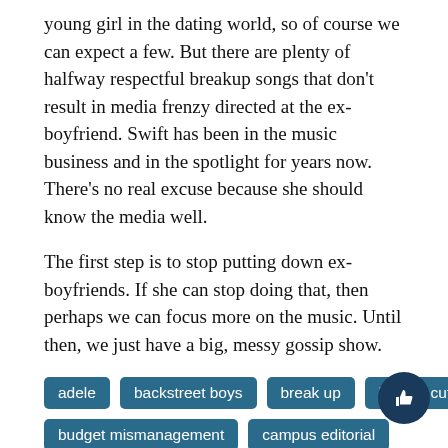young girl in the dating world, so of course we can expect a few. But there are plenty of halfway respectful breakup songs that don't result in media frenzy directed at the ex-boyfriend. Swift has been in the music business and in the spotlight for years now. There’s no real excuse because she should know the media well.
The first step is to stop putting down ex-boyfriends. If she can stop doing that, then perhaps we can focus more on the music. Until then, we just have a big, messy gossip show.
adele
backstreet boys
break up
budget cuts
budget mismanagement
campus editorial
ellen degeneres
ex-boyfriend
john mayer
layoffs
Music
n*sync
student productions
student work aids
student workers
taylor swift